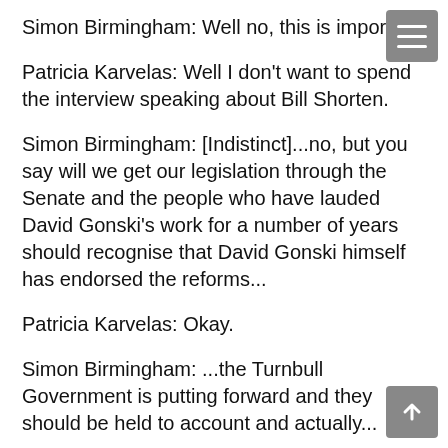Simon Birmingham: Well no, this is important.
Patricia Karvelas: Well I don't want to spend the interview speaking about Bill Shorten.
Simon Birmingham: [Indistinct]...no, but you say will we get our legislation through the Senate and the people who have lauded David Gonski's work for a number of years should recognise that David Gonski himself has endorsed the reforms...
Patricia Karvelas: Okay.
Simon Birmingham: ...the Turnbull Government is putting forward and they should be held to account and actually...
Patricia Karvelas: [Talks over] Just a quick one because we're running out of time, Minister, on higher education.  The threshold that you're making HECS payments be repaid at is being considered too low by people like Derryn...